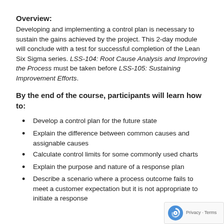Overview:
Developing and implementing a control plan is necessary to sustain the gains achieved by the project. This 2-day module will conclude with a test for successful completion of the Lean Six Sigma series. LSS-104: Root Cause Analysis and Improving the Process must be taken before LSS-105: Sustaining Improvement Efforts.
By the end of the course, participants will learn how to:
Develop a control plan for the future state
Explain the difference between common causes and assignable causes
Calculate control limits for some commonly used charts
Explain the purpose and nature of a response plan
Describe a scenario where a process outcome fails to meet a customer expectation but it is not appropriate to initiate a response